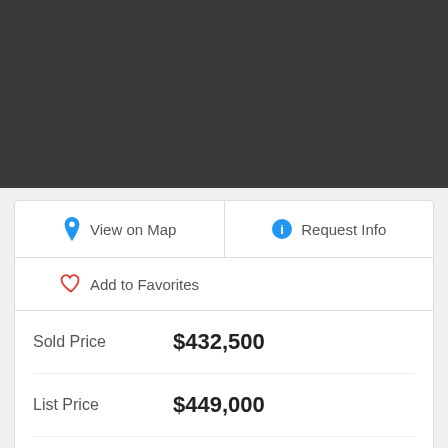[Figure (photo): Dark gray header area, likely a property photo placeholder]
View on Map
Request Info
Add to Favorites
| Sold Price | $432,500 |
| List Price | $449,000 |
| Closing Date | Aug 18, 2022 |